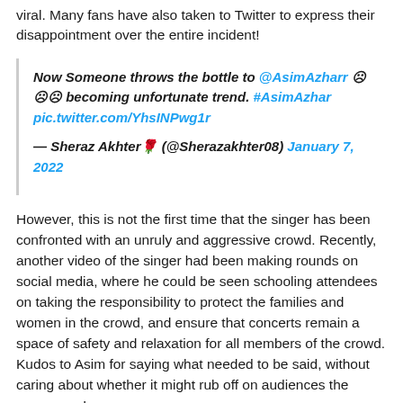viral. Many fans have also taken to Twitter to express their disappointment over the entire incident!
Now Someone throws the bottle to @AsimAzharr ☹ ☹☹ becoming unfortunate trend. #AsimAzhar pic.twitter.com/YhsINPwg1r
— Sheraz Akhter🌹 (@Sherazakhter08) January 7, 2022
However, this is not the first time that the singer has been confronted with an unruly and aggressive crowd. Recently, another video of the singer had been making rounds on social media, where he could be seen schooling attendees on taking the responsibility to protect the families and women in the crowd, and ensure that concerts remain a space of safety and relaxation for all members of the crowd. Kudos to Asim for saying what needed to be said, without caring about whether it might rub off on audiences the wrong way!